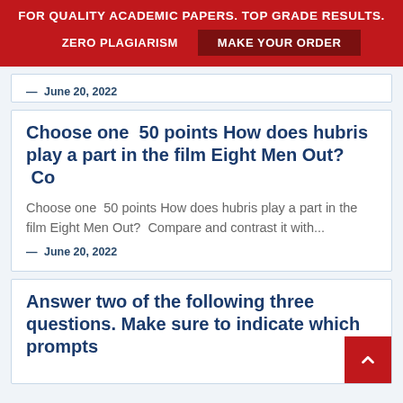FOR QUALITY ACADEMIC PAPERS. TOP GRADE RESULTS. ZERO PLAGIARISM MAKE YOUR ORDER
— June 20, 2022
Choose one  50 points How does hubris play a part in the film Eight Men Out?  Co
Choose one  50 points How does hubris play a part in the film Eight Men Out?  Compare and contrast it with...
— June 20, 2022
Answer two of the following three questions. Make sure to indicate which prompts